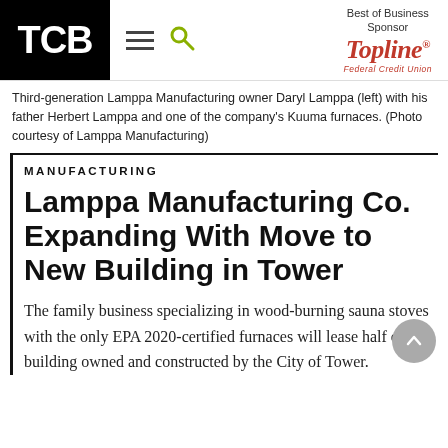TCB
[Figure (logo): TopLine Federal Credit Union logo — Best of Business Sponsor]
Third-generation Lamppa Manufacturing owner Daryl Lamppa (left) with his father Herbert Lamppa and one of the company's Kuuma furnaces. (Photo courtesy of Lamppa Manufacturing)
MANUFACTURING
Lamppa Manufacturing Co. Expanding With Move to New Building in Tower
The family business specializing in wood-burning sauna stoves with the only EPA 2020-certified furnaces will lease half of a building owned and constructed by the City of Tower.